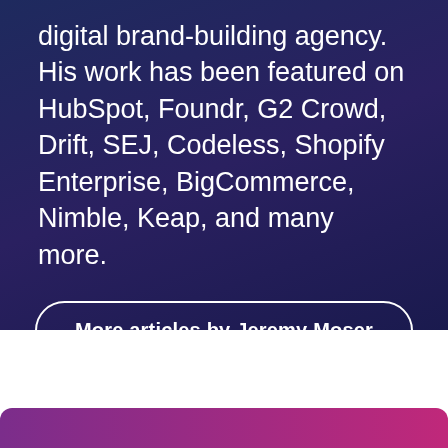digital brand-building agency. His work has been featured on HubSpot, Foundr, G2 Crowd, Drift, SEJ, Codeless, Shopify Enterprise, BigCommerce, Nimble, Keap, and many more.
More articles by Jeremy Moser